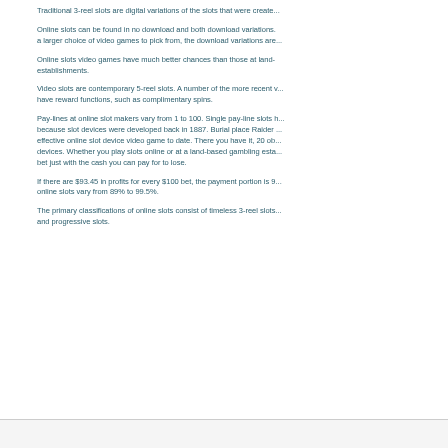Traditional 3-reel slots are digital variations of the slots that were create...
Online slots can be found in no download and both download variations. a larger choice of video games to pick from, the download variations are...
Online slots video games have much better chances than those at land- establishments.
Video slots are contemporary 5-reel slots. A number of the more recent v... have reward functions, such as complimentary spins.
Pay-lines at online slot makers vary from 1 to 100. Single pay-line slots h... because slot devices were developed back in 1887. Burial place Raider ... effective online slot device video game to date. There you have it, 20 ob... devices. Whether you play slots online or at a land-based gambling esta... bet just with the cash you can pay for to lose.
If there are $93.45 in profits for every $100 bet, the payment portion is 9... online slots vary from 89% to 99.5%.
The primary classifications of online slots consist of timeless 3-reel slots... and progressive slots.